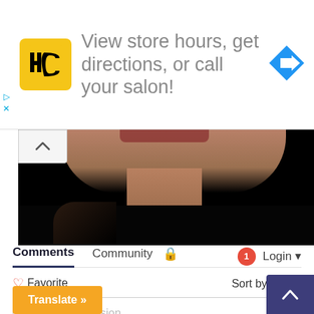[Figure (infographic): Advertisement banner: HC logo (yellow square with HC letters), text 'View store hours, get directions, or call your salon!', blue navigation arrow icon on right. Play and X controls on left edge.]
[Figure (photo): Close-up photo of a woman's neck and lower face/chin area against a black background, wearing a dark top.]
"Botox Alternative" Sold Out At Target (in 2 Days)
Vibriance
Comments
Community
Login
Favorite
Sort by Best
Start the discussion...
Translate »